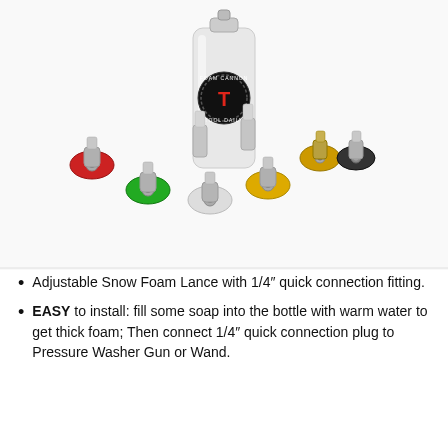[Figure (photo): Product photo showing a white foam cannon bottle with 'Foam Cannon Tool Daily' logo (black circular badge with red T icon), surrounded by 6 pressure washer quick-connect nozzle tips in red, green, white, yellow, gold/brass, and black colors, arranged in a fan/arc in front of the bottle on a white background.]
Adjustable Snow Foam Lance with 1/4″ quick connection fitting.
EASY to install: fill some soap into the bottle with warm water to get thick foam; Then connect 1/4″ quick connection plug to Pressure Washer Gun or Wand.